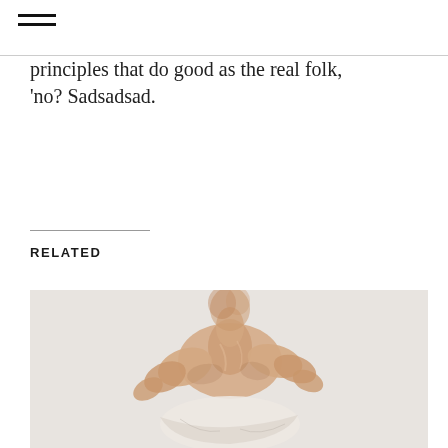principles that do good as the real folk, 'no? Sadsadsad.
RELATED
[Figure (illustration): Watercolor or paint illustration of a human figure, upper body, bending forward, shown from the back, with warm skin tones on a light grey-white background. The torso and arms are visible, with a white fabric draped below.]